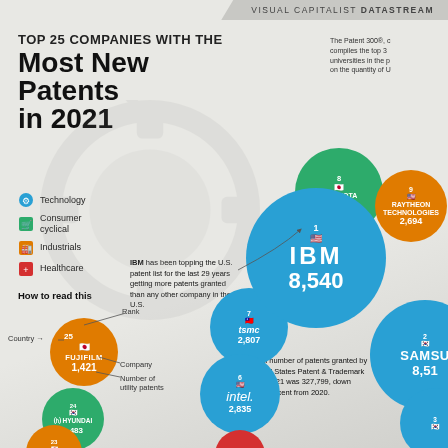VISUAL CAPITALIST DATASTREAM
TOP 25 COMPANIES WITH THE Most New Patents in 2021
The Patent 300®, compiles the top 3 universities in the p on the quantity of U
Technology
Consumer cyclical
Industrials
Healthcare
How to read this
IBM has been topping the U.S. patent list for the last 29 years getting more patents granted than any other company in the U.S.
The total number of patents granted by the United States Patent & Trademark Office in 2021 was 327,799, down nearly 7 percent from 2020.
[Figure (infographic): Bubble chart showing top 25 companies with the most new patents in 2021. Each bubble represents a company, sized by patent count. Companies shown: IBM (rank 1, US, 8,540), Samsung (rank 2, South Korea, 8,51x), Toyota (rank 8, Japan, 2,753), Raytheon Technologies (rank 9, US, 2,694), TSMC (rank 7, Taiwan, 2,807), Intel (rank 6, US, 2,835), Hyundai (rank 24, South Korea, 1,483), Hitachi (rank 23, Japan, 1,497), Fujifilm (rank 25, Japan, 1,421). Color coding: blue=Technology, green=Consumer cyclical, orange=Industrials, red=Healthcare.]